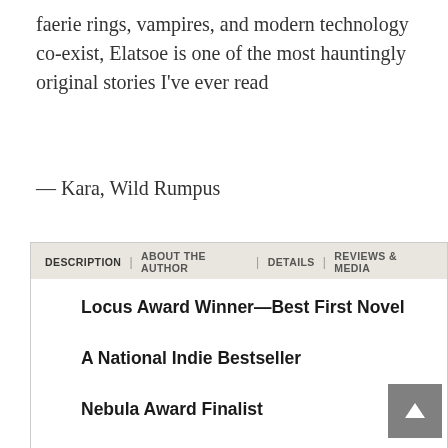faerie rings, vampires, and modern technology co-exist, Elatsoe is one of the most hauntingly original stories I've ever read
— Kara, Wild Rumpus
DESCRIPTION | ABOUT THE AUTHOR | DETAILS | REVIEWS & MEDIA
Locus Award Winner—Best First Novel
A National Indie Bestseller
Nebula Award Finalist
Lodestar Award Finalist